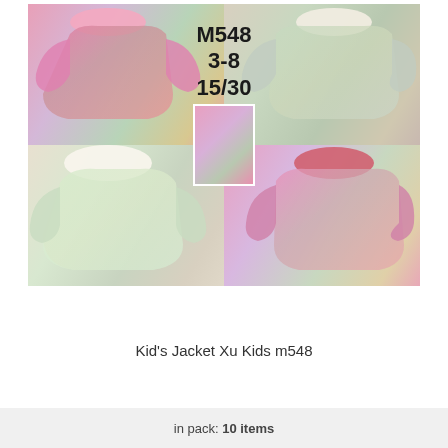[Figure (photo): Product photo showing four iridescent/holographic children's puffer jackets with fur-trimmed hoods in pink, white/cream, and pink-red colorways, arranged in a 2x2 grid with a small center thumbnail. Overlaid text shows model number M548, size range 3-8, and pack quantity 15/30.]
Kid's Jacket Xu Kids m548
in pack: 10 items